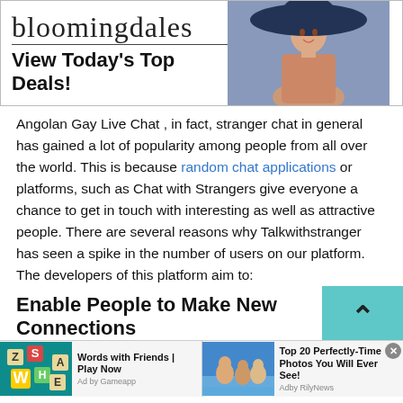[Figure (other): Bloomingdales advertisement banner with logo, model in hat, and 'View Today's Top Deals!' text, SHOP NOW button]
Angolan Gay Live Chat , in fact, stranger chat in general has gained a lot of popularity among people from all over the world. This is because random chat applications or platforms, such as Chat with Strangers give everyone a chance to get in touch with interesting as well as attractive people. There are several reasons why Talkwithstranger has seen a spike in the number of users on our platform. The developers of this platform aim to:
Enable People to Make New Connections
[Figure (other): Bottom advertisement bar with two ads: 'Words with Friends | Play Now - Ad by Gameapp' and 'Top 20 Perfectly-Time Photos You Will Ever See! - Adby RilyNews']